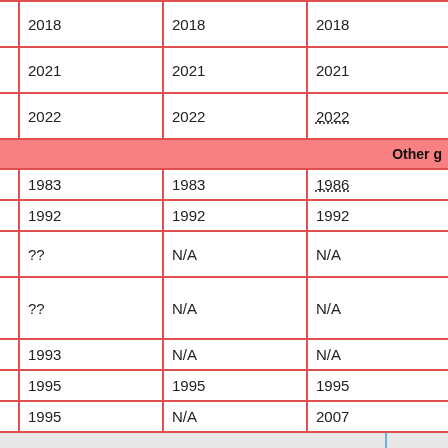| Game | Japan | North America | Europe/Australia |
| --- | --- | --- | --- |
| Mario Tennis Aces | 2018 | 2018 | 2018 |
| Mario Golf: Super Rush | 2021 | 2021 | 2021 |
| Mario Strikers: Battle League | 2022 | 2022 | 2022 |
| Other g[ames section header] |  |  |  |
| Mario Bros. | 1983 | 1983 | 1986 |
| Mario Paint | 1992 | 1992 | 1992 |
| Mario Paint BS Ban | ?? | N/A | N/A |
| Mario Paint Yuushou Naizou Ban | ?? | N/A | N/A |
| Mario & Wario | 1993 | N/A | N/A |
| Mario's Picross | 1995 | 1995 | 1995 |
| Mario's Super [Picross] | 1995 | N/A | 2007 |